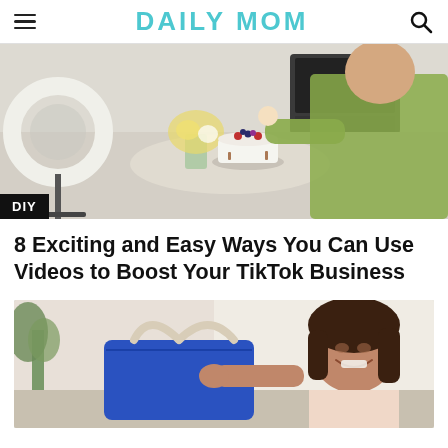DAILY MOM
[Figure (photo): Woman in green shirt holding a cake on a stand in a modern kitchen, with a ring light on a tripod to the left and yellow flowers in a vase on the table. DIY badge in bottom left corner.]
8 Exciting and Easy Ways You Can Use Videos to Boost Your TikTok Business
[Figure (photo): A smiling girl holding a blue bag/laptop case with white handles, sitting indoors with a plant in the background.]